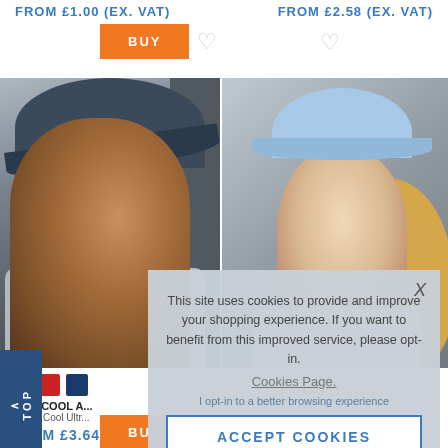FROM £1.00 (EX. VAT)
FROM £2.58 (EX. VAT)
[Figure (photo): Man wearing a dark navy baseball cap in a gym setting, grey shirt]
[Figure (photo): Woman wearing a light blue cap/visor, blonde hair, grey background]
JUST COOL A...
AWDis Cool Ultr...
FROM £3.64 (...
This site uses cookies to provide and improve your shopping experience. If you want to benefit from this improved service, please opt-in.
Cookies Page.
I opt-in to a better browsing experience
ACCEPT COOKIES